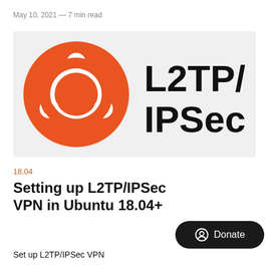May 10, 2021 — 7 min read
[Figure (illustration): Ubuntu logo (orange circle with white nodes) on gray background, with text 'L2TP/IPSec' in large black sans-serif font on the right side]
18.04
Setting up L2TP/IPSec VPN in Ubuntu 18.04+
Set up L2TP/IPSec VPN